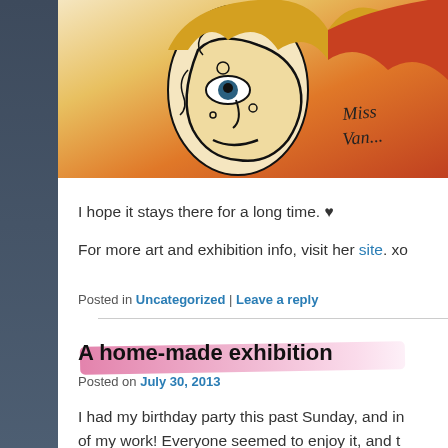[Figure (photo): Colorful artwork/painting with abstract face elements in black outlines over warm yellow, orange and red tones. Text 'Miss Van...' is written in script on the orange area.]
I hope it stays there for a long time. ♥
For more art and exhibition info, visit her site. xo
Posted in Uncategorized | Leave a reply
A home-made exhibition
Posted on July 30, 2013
I had my birthday party this past Sunday, and in of my work! Everyone seemed to enjoy it, and t